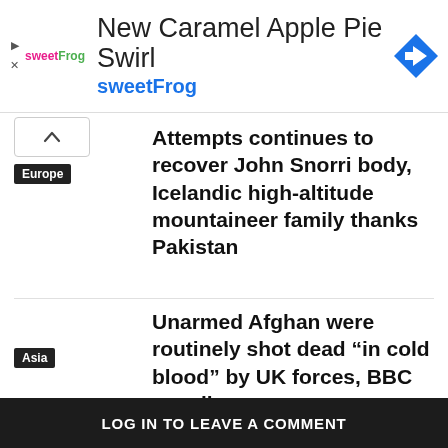[Figure (infographic): Advertisement banner for sweetFrog featuring logo, text 'New Caramel Apple Pie Swirl' and 'sweetFrog', with a blue navigation/directions diamond icon]
Attempts continues to recover John Snorri body, Icelandic high-altitude mountaineer family thanks Pakistan
Europe
Unarmed Afghan were routinely shot dead “in cold blood” by UK forces, BBC unveils
Asia
LEAVE A REPLY
LOG IN TO LEAVE A COMMENT